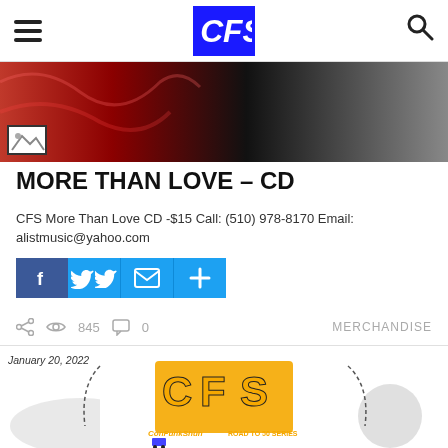CFS website navigation bar with hamburger menu, CFS logo, and search icon
[Figure (photo): Hero image showing red fabric/clothing against a dark background]
MORE THAN LOVE – CD
CFS More Than Love CD -$15 Call: (510) 978-8170 Email: alistmusic@yahoo.com
[Figure (infographic): Social sharing buttons: Facebook, Twitter, Email, and More (+)]
845 views, 0 comments, MERCHANDISE
[Figure (photo): January 20, 2022 - CFS merchandise shirt featuring ConFunkShun Road to 50 Series logo]